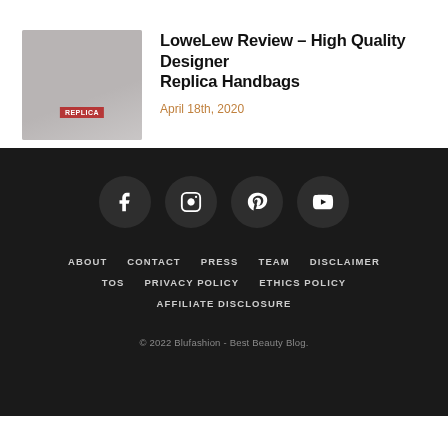[Figure (photo): Thumbnail image of handbags for the LoweLew Review article]
LoweLew Review – High Quality Designer Replica Handbags
April 18th, 2020
[Figure (infographic): Social media icons: Facebook, Instagram, Pinterest, YouTube on dark background footer]
ABOUT
CONTACT
PRESS
TEAM
DISCLAIMER
TOS
PRIVACY POLICY
ETHICS POLICY
AFFILIATE DISCLOSURE
© 2022 Blufashion - Best Beauty Blog.